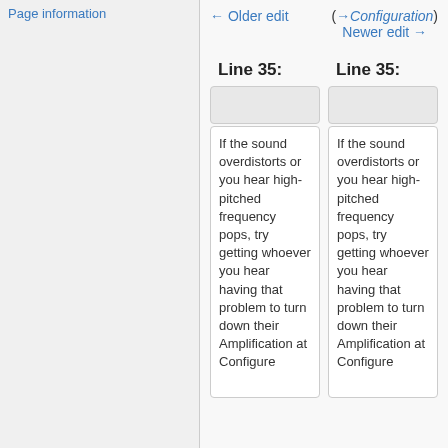Page information
← Older edit
(→Configuration) Newer edit →
Line 35:
Line 35:
If the sound overdistorts or you hear high-pitched frequency pops, try getting whoever you hear having that problem to turn down their Amplification at Configure
If the sound overdistorts or you hear high-pitched frequency pops, try getting whoever you hear having that problem to turn down their Amplification at Configure